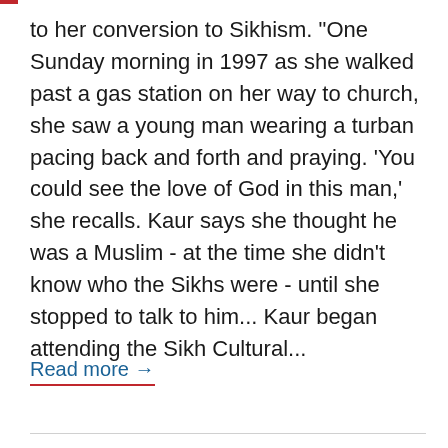to her conversion to Sikhism. "One Sunday morning in 1997 as she walked past a gas station on her way to church, she saw a young man wearing a turban pacing back and forth and praying. 'You could see the love of God in this man,' she recalls. Kaur says she thought he was a Muslim - at the time she didn't know who the Sikhs were - until she stopped to talk to him... Kaur began attending the Sikh Cultural...
Read more →